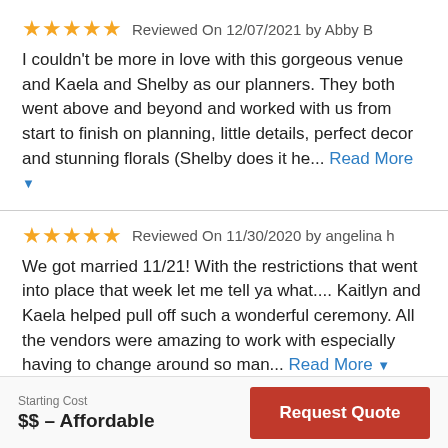★★★★★ Reviewed On 12/07/2021 by Abby B
I couldn't be more in love with this gorgeous venue and Kaela and Shelby as our planners. They both went above and beyond and worked with us from start to finish on planning, little details, perfect decor and stunning florals (Shelby does it he... Read More
★★★★★ Reviewed On 11/30/2020 by angelina h
We got married 11/21! With the restrictions that went into place that week let me tell ya what.... Kaitlyn and Kaela helped pull off such a wonderful ceremony. All the vendors were amazing to work with especially having to change around so man... Read More
Starting Cost
$$ – Affordable
Request Quote